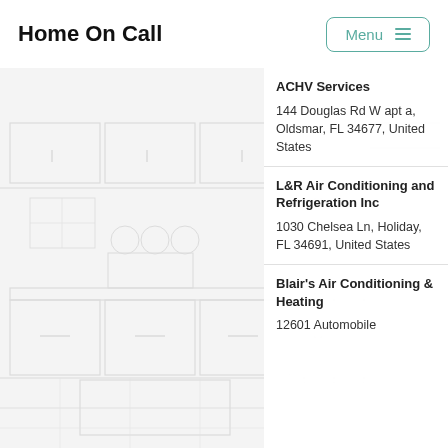Home On Call
Menu
[Figure (illustration): Faint light gray line-art illustration of a kitchen interior with cabinets, countertops, appliances, and shelving visible in the background]
ACHV Services
144 Douglas Rd W apt a, Oldsmar, FL 34677, United States
L&R Air Conditioning and Refrigeration Inc
1030 Chelsea Ln, Holiday, FL 34691, United States
Blair's Air Conditioning & Heating
12601 Automobile